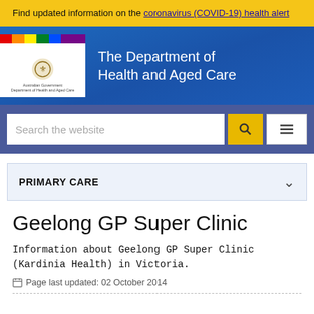Find updated information on the coronavirus (COVID-19) health alert
[Figure (logo): Australian Government Department of Health and Aged Care logo with rainbow bar and coat of arms, alongside text 'The Department of Health and Aged Care']
[Figure (screenshot): Search bar with placeholder 'Search the website', yellow search button, and white menu button]
PRIMARY CARE
Geelong GP Super Clinic
Information about Geelong GP Super Clinic (Kardinia Health) in Victoria.
Page last updated: 02 October 2014